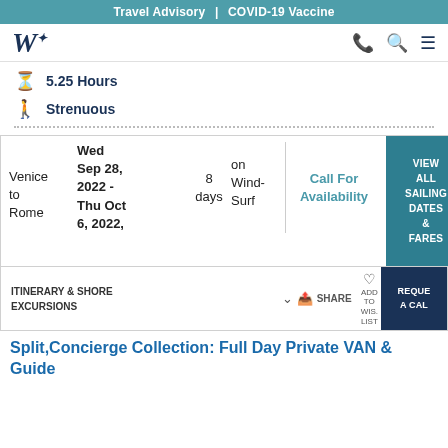Travel Advisory  |  COVID-19 Vaccine
[Figure (logo): Windstar Cruises W logo]
5.25 Hours
Strenuous
| Route | Date | Days | Ship | Price |
| --- | --- | --- | --- | --- |
| Venice to Rome | Wed Sep 28, 2022 - Thu Oct 6, 2022, | 8 days | on WindSurf | Call For Availability |
VIEW ALL SAILING DATES & FARES
ITINERARY & SHORE EXCURSIONS
SHARE
ADD TO WIS. LIST
REQUE A CAL
Split,Concierge Collection: Full Day Private VAN & Guide